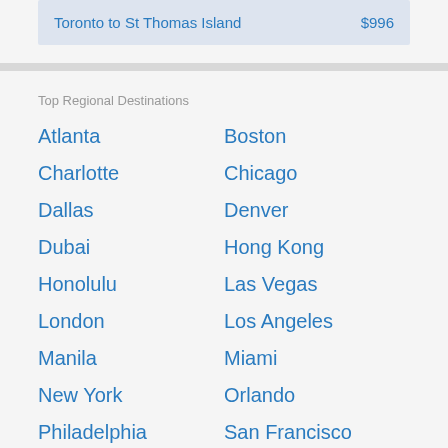| Route | Price |
| --- | --- |
| Toronto to St Thomas Island | $996 |
Top Regional Destinations
Atlanta
Boston
Charlotte
Chicago
Dallas
Denver
Dubai
Hong Kong
Honolulu
Las Vegas
London
Los Angeles
Manila
Miami
New York
Orlando
Philadelphia
San Francisco
Seattle
Seoul
Singapore
Tokyo